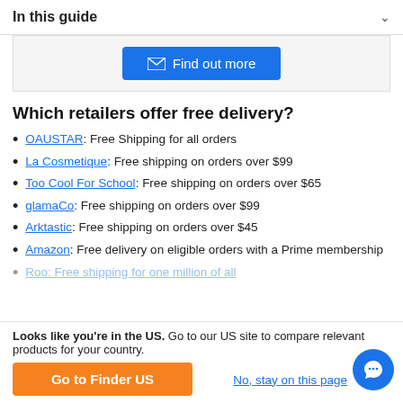In this guide
[Figure (other): Blue 'Find out more' button with envelope icon]
Which retailers offer free delivery?
OAUSTAR: Free Shipping for all orders
La Cosmetique: Free shipping on orders over $99
Too Cool For School: Free shipping on orders over $65
glamaCo: Free shipping on orders over $99
Arktastic: Free shipping on orders over $45
Amazon: Free delivery on eligible orders with a Prime membership
Looks like you're in the US. Go to our US site to compare relevant products for your country.
Go to Finder US
No, stay on this page